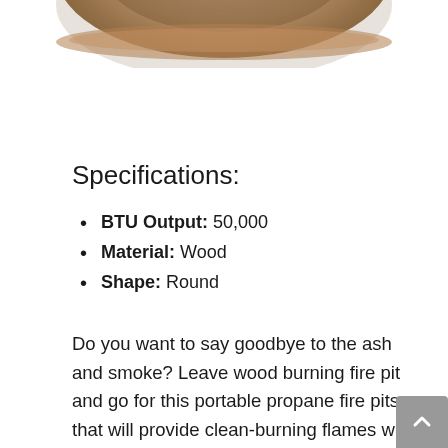[Figure (photo): Bottom portion of a round wooden fire pit bowl, shown from above against a white background.]
Specifications:
BTU Output: 50,000
Material: Wood
Shape: Round
Do you want to say goodbye to the ash and smoke? Leave wood burning fire pit and go for this portable propane fire pits that will provide clean-burning flames with soothing warmth. Besides warmth, it will